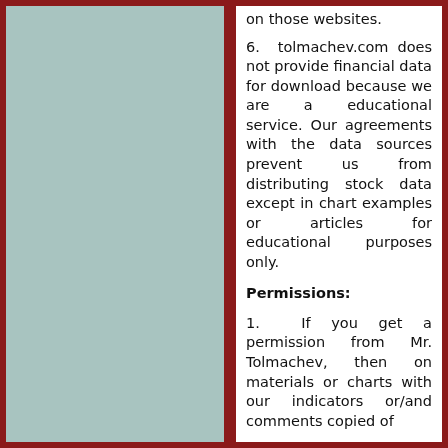on those websites.
6.  tolmachev.com does not provide financial data for download because we are a educational service. Our agreements with the data sources prevent us from distributing stock data except in chart examples or articles for educational purposes only.
Permissions:
1.  If you get a permission from Mr. Tolmachev, then on materials or charts with our indicators or/and comments copied of